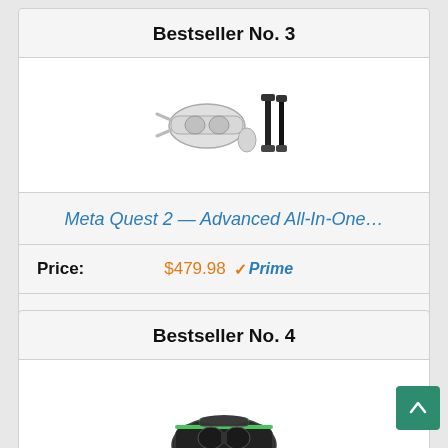Bestseller No. 3
[Figure (photo): Meta Quest 2 VR headset with a USB-C cable beside it, on white background]
Meta Quest 2 — Advanced All-In-One…
Price: $479.98 Prime
Buy on Amazon
Bestseller No. 4
[Figure (photo): VR headset with green accents, partially visible at bottom of page]